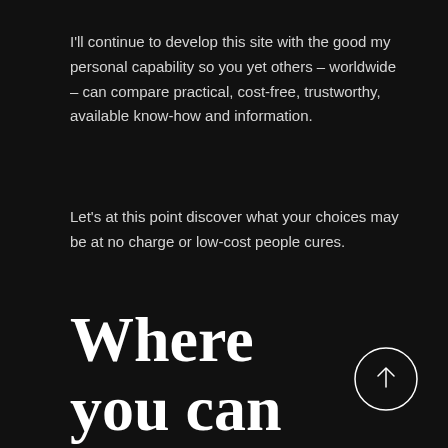I'll continue to develop this site with the good my personal capability so you yet others – worldwide – can compare practical, cost-free, trustworthy, available know-how and information.
Let's at this point discover what your choices may be at no charge or low-cost people cures.
Where you can get free fo...